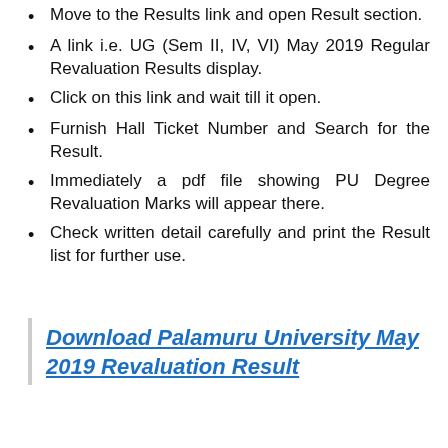Move to the Results link and open Result section.
A link i.e. UG (Sem II, IV, VI) May 2019 Regular Revaluation Results display.
Click on this link and wait till it open.
Furnish Hall Ticket Number and Search for the Result.
Immediately a pdf file showing PU Degree Revaluation Marks will appear there.
Check written detail carefully and print the Result list for further use.
Download Palamuru University May 2019 Revaluation Result